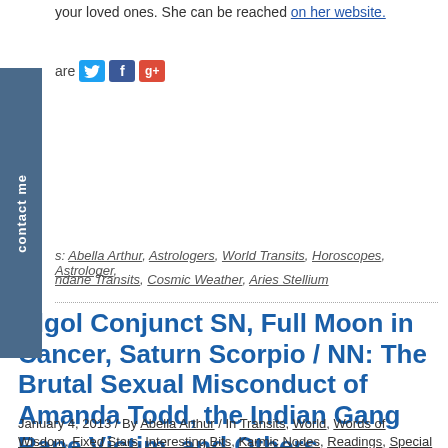your loved ones. She can be reached on her website.
[Figure (other): Social share bar with Twitter, Facebook, and Google+ icons]
Tags: Abella Arthur, Astrologers, World Transits, Horoscopes, Astrologer, Mundane Transits, Cosmic Weather, Aries Stellium
Algol Conjunct SN, Full Moon in Cancer, Saturn Scorpio / NN: The Brutal Sexual Misconduct of Amanda Todd, the Indian Gang Rape Victim, and Others…
January 4, 2013 / By Abella Arthur / In Transits, World, Words of Wisdom, Fixed Stars, Interesting Bits, Karmic Nodes, Readings, Special Topics,